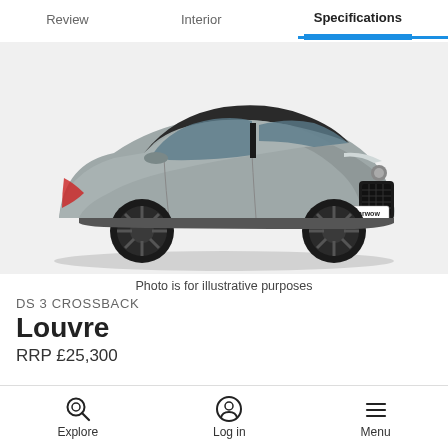Review | Interior | Specifications
[Figure (photo): Grey DS 3 Crossback SUV shown in 3/4 front view on white/light grey background, with carwow branding on license plate area]
Photo is for illustrative purposes
DS 3 CROSSBACK
Louvre
RRP £25,300